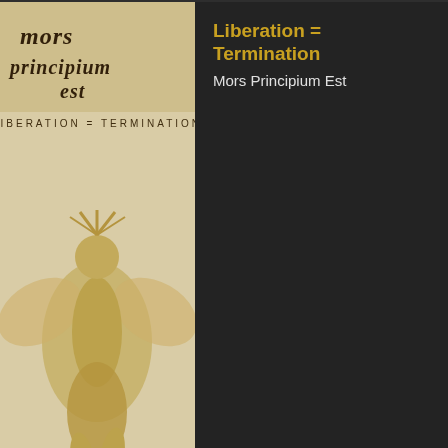[Figure (photo): Partial album art showing a dark mechanical/gear themed cover with text 'pitch black progress' - top portion cut off]
[Figure (photo): Album cover for Liberation = Termination by Mors Principium Est, featuring a golden angelic/winged figure on a cream/sepia background with ornate gothic band logo text]
Liberation = Termination
Mors Principium Est
[Figure (photo): Partial album art for Before The Dawn, showing a dark red background with a skull-like design, text BEFORE THE DAWN at bottom]
4:17 Am
Before The Dawn